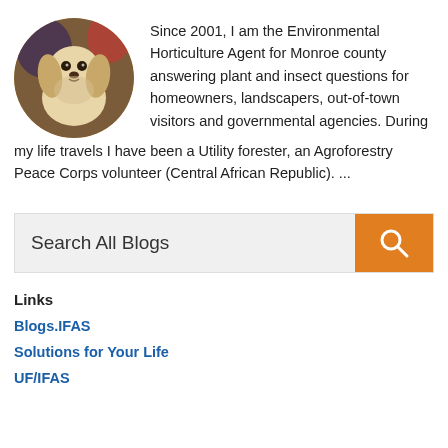[Figure (photo): Circular profile photo of a light-colored cocker spaniel dog]
Since 2001, I am the Environmental Horticulture Agent for Monroe county answering plant and insect questions for homeowners, landscapers, out-of-town visitors and governmental agencies. During my life travels I have been a Utility forester, an Agroforestry Peace Corps volunteer (Central African Republic). ...
[Figure (screenshot): Search All Blogs input bar with orange search button icon]
Links
Blogs.IFAS
Solutions for Your Life
UF/IFAS